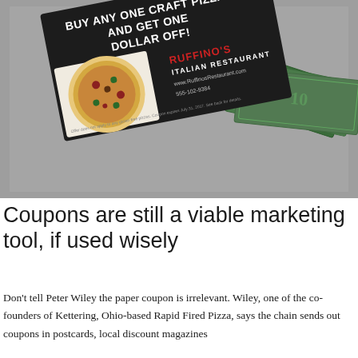[Figure (photo): A Ruffino's Italian Restaurant coupon postcard reading 'BUY ANY ONE CRAFT PIZZA AND GET ONE DOLLAR OFF!' with an image of a pizza, the restaurant name, website www.RuffinosRestaurant.com, phone 555-102-9384, fine print about gluten free pizzas and coupon expiration. The card is placed on top of US dollar bills against a grey background.]
Coupons are still a viable marketing tool, if used wisely
Don't tell Peter Wiley the paper coupon is irrelevant. Wiley, one of the co-founders of Kettering, Ohio-based Rapid Fired Pizza, says the chain sends out coupons in postcards, local discount magazines and…